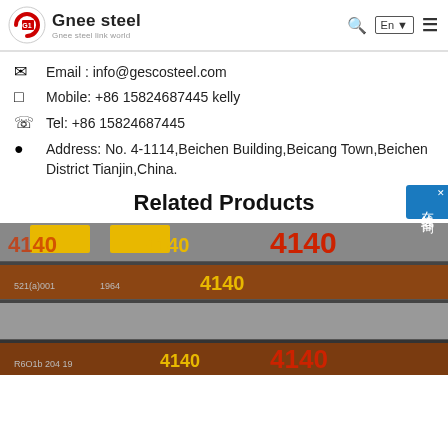Gnee steel | Gnee steel link world | En | search | menu
Email : info@gescosteel.com
Mobile: +86 15824687445 kelly
Tel: +86 15824687445
Address: No. 4-1114,Beichen Building,Beicang Town,Beichen District Tianjin,China.
Related Products
[Figure (photo): Steel bars/flat stock stacked in a warehouse, marked with the number 4140 in yellow and red paint, indicating AISI 4140 alloy steel grade.]